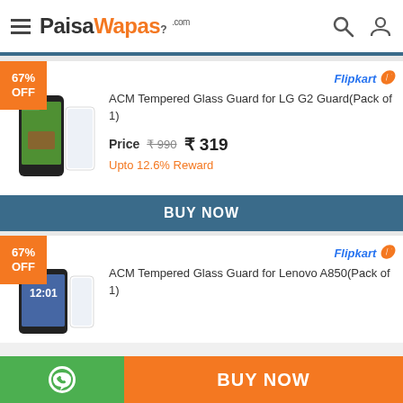PaisaWapas.com
67% OFF
[Figure (photo): ACM Tempered Glass Guard product image with LG G2 phone]
ACM Tempered Glass Guard for LG G2 Guard(Pack of 1)
Price ₹990 ₹ 319
Upto 12.6% Reward
BUY NOW
67% OFF
[Figure (photo): ACM Tempered Glass Guard product image with Lenovo A850 phone]
ACM Tempered Glass Guard for Lenovo A850(Pack of 1)
BUY NOW